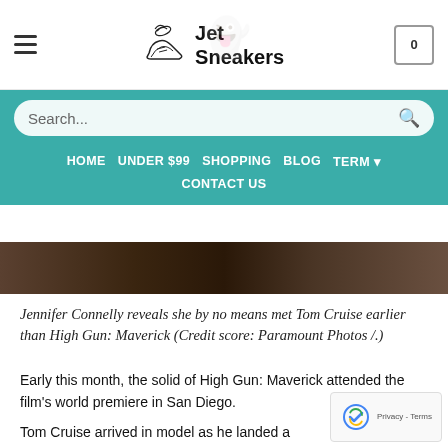Jet Sneakers - Header with hamburger menu, logo, and cart
[Figure (screenshot): Teal navigation bar with search box and menu links: HOME, UNDER $99, SHOPPING, BLOG, TERM, CONTACT US]
[Figure (photo): Dark photo strip at top of article, appears to be a dark scene from a film or event]
Jennifer Connelly reveals she by no means met Tom Cruise earlier than High Gun: Maverick (Credit score: Paramount Photos /.)
Early this month, the solid of High Gun: Maverick attended the film's world premiere in San Diego.
Tom Cruise arrived in model as he landed a helicopter